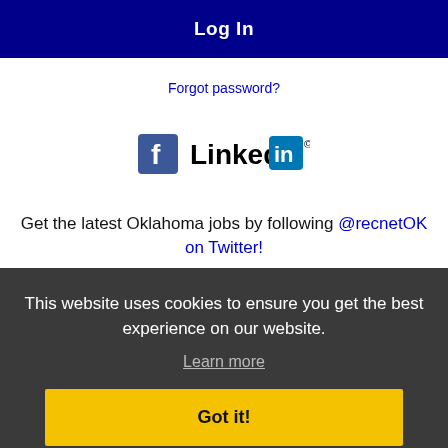Log In
Forgot password?
[Figure (logo): Facebook logo icon and LinkedIn logo side by side]
Get the latest Oklahoma jobs by following @recnetOK on Twitter!
Oklahoma City RSS job feeds
This website uses cookies to ensure you get the best experience on our website.
Learn more
Got it!
JOB SEEKERS
Search Oklahoma City jobs